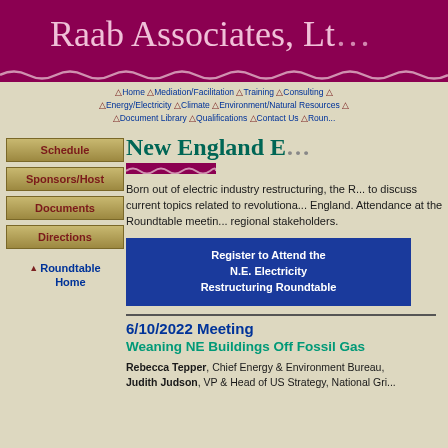Raab Associates, Lt...
Home △ Mediation/Facilitation △ Training △ Consulting △ Energy/Electricity △ Climate △ Environment/Natural Resources △ Document Library △ Qualifications △ Contact Us △ Roun...
Schedule
Sponsors/Host
Documents
Directions
Roundtable Home
New England E...
Born out of electric industry restructuring, the R... to discuss current topics related to revolutiona... England. Attendance at the Roundtable meetin... regional stakeholders.
Register to Attend the N.E. Electricity Restructuring Roundtable
6/10/2022 Meeting
Weaning NE Buildings Off Fossil Gas
Rebecca Tepper, Chief Energy & Environment Bureau, Judith Judson, VP & Head of US Strategy, National Gri...